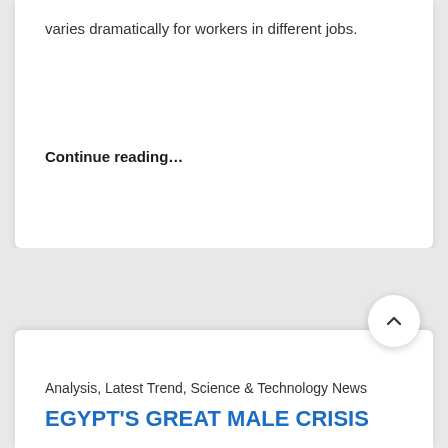varies dramatically for workers in different jobs.
Continue reading...
Analysis, Latest Trend, Science & Technology News
EGYPT'S GREAT MALE CRISIS